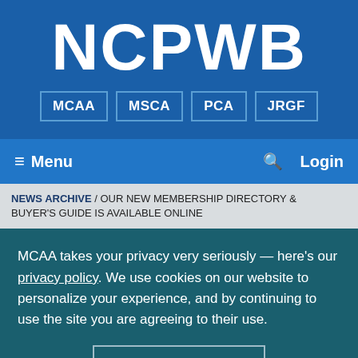[Figure (logo): NCPWB logo in white bold text on blue background, with four sub-logos: MCAA, MSCA, PCA, JRGF in bordered boxes]
Menu  Search  Login
NEWS ARCHIVE / OUR NEW MEMBERSHIP DIRECTORY & BUYER'S GUIDE IS AVAILABLE ONLINE
MCAA takes your privacy very seriously — here's our privacy policy. We use cookies on our website to personalize your experience, and by continuing to use the site you are agreeing to their use.
I ACCEPT